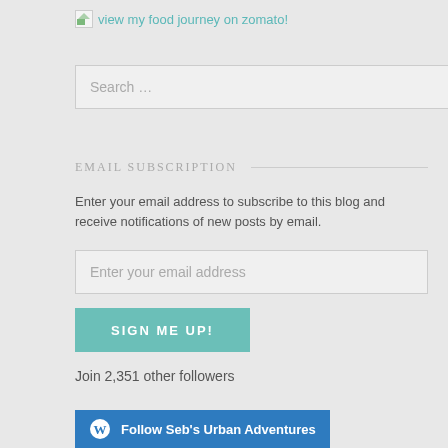[Figure (logo): Broken image icon followed by 'view my food journey on zomato!' link text in teal color]
[Figure (screenshot): Search input field with placeholder text 'Search ...']
EMAIL SUBSCRIPTION
Enter your email address to subscribe to this blog and receive notifications of new posts by email.
[Figure (screenshot): Email input field with placeholder 'Enter your email address']
[Figure (screenshot): Teal button labeled 'SIGN ME UP!']
Join 2,351 other followers
[Figure (screenshot): Blue 'Follow Seb's Urban Adventures' button with WordPress icon]